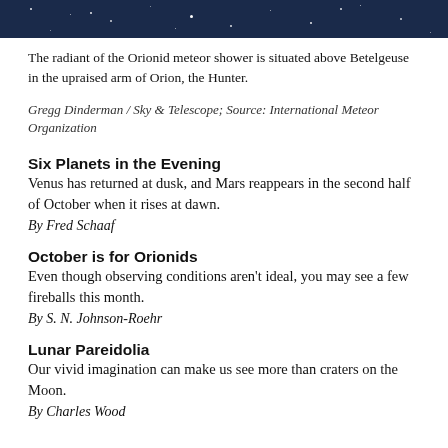[Figure (photo): Dark night sky image with stars, serving as a header image for the page.]
The radiant of the Orionid meteor shower is situated above Betelgeuse in the upraised arm of Orion, the Hunter.
Gregg Dinderman / Sky & Telescope; Source: International Meteor Organization
Six Planets in the Evening
Venus has returned at dusk, and Mars reappears in the second half of October when it rises at dawn.
By Fred Schaaf
October is for Orionids
Even though observing conditions aren't ideal, you may see a few fireballs this month.
By S. N. Johnson-Roehr
Lunar Pareidolia
Our vivid imagination can make us see more than craters on the Moon.
By Charles Wood